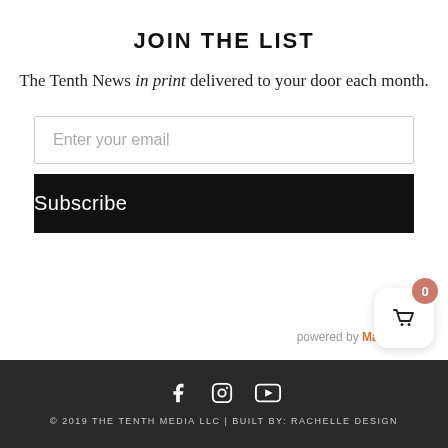JOIN THE LIST
The Tenth News in print delivered to your door each month.
Enter your email
Subscribe
powered by MailMunch
0
© 2019 THE TENTH MEDIA LLC | BUILT BY: RACHELLE DESIGN